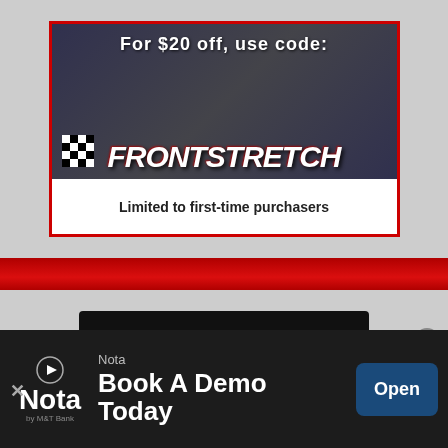[Figure (illustration): Frontstretch promotion ad: 'For $20 off, use code: FRONTSTRETCH' with checkered flag graphic. Text 'Limited to first-time purchasers' below.]
[Figure (logo): The Pit Lane Menards Series advertisement banner on black background with Menards oval logo.]
Latest Articles
[Figure (screenshot): Bottom overlay advertisement for Nota by M&T Bank: 'Nota / Book A Demo Today' with Open button and dismiss controls.]